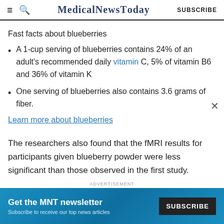MedicalNewsToday SUBSCRIBE
Fast facts about blueberries
A 1-cup serving of blueberries contains 24% of an adult's recommended daily vitamin C, 5% of vitamin B6 and 36% of vitamin K
One serving of blueberries also contains 3.6 grams of fiber.
Learn more about blueberries
The researchers also found that the fMRI results for participants given blueberry powder were less significant than those observed in the first study.
ADVERTISEMENT
[Figure (other): Advertisement banner: Get the MNT newsletter. Subscribe to receive our top news articles. SUBSCRIBE button.]